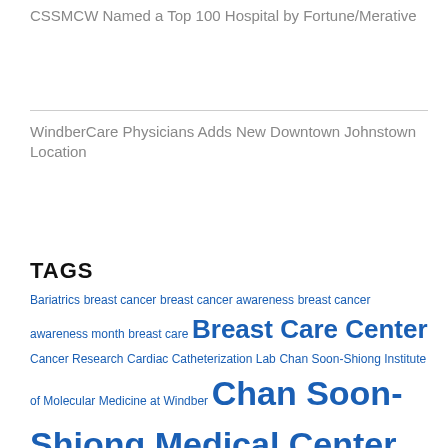CSSMCW Named a Top 100 Hospital by Fortune/Merative
WindberCare Physicians Adds New Downtown Johnstown Location
TAGS
Bariatrics breast cancer breast cancer awareness breast cancer awareness month breast care Breast Care Center Cancer Research Cardiac Catheterization Lab Chan Soon-Shiong Institute of Molecular Medicine at Windber Chan Soon-Shiong Medical Center at Windber Community CSSMCW Doctor Donation Emergency Full Time GYN Gynecology Healthcare Professionals Heart Health Hospice JMBCC johnstown Joyce Murtha Breast Care Center Mammogram